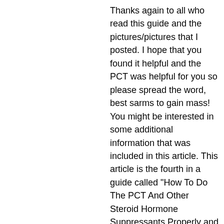Thanks again to all who read this guide and the pictures/pictures that I posted. I hope that you found it helpful and the PCT was helpful for you so please spread the word, best sarms to gain mass! You might be interested in some additional information that was included in this article. This article is the fourth in a guide called "How To Do The PCT And Other Steroid Hormone Suppressants Properly and Safely", best cutting stack 2022. This guide includes lots of pics and information about the process but we will talk about how many steroids your body can take and how much and what dosages they have to use, ostarine results how long. If you feel that you want to learn other related subjects then please do this guide as well or if you'd like to read the entire guide please go ahead and go to the link below for information about your own body.